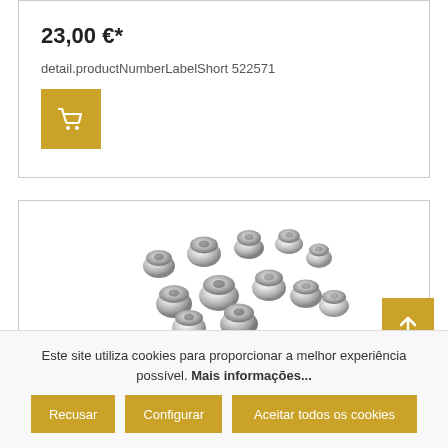23,00 €*
detail.productNumberLabelShort 522571
[Figure (screenshot): Golden/yellow add to cart button with shopping cart icon]
[Figure (photo): Multiple chrome/silver wheel lug nuts arranged in a group on white background]
Porcas para as rodas
[Figure (screenshot): Back to top arrow button in golden color]
Este site utiliza cookies para proporcionar a melhor experiência possível. Mais informações...
Recusar
Configurar
Aceitar todos os cookies